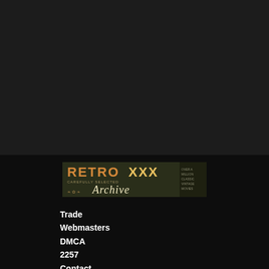[Figure (logo): Retro XXX Archive logo banner with orange/tan styled lettering on dark background with script 'Archive' text]
Trade
Webmasters
DMCA
2257
Contact
© 2018 retro-xxx-archive.club. All rights reserved.